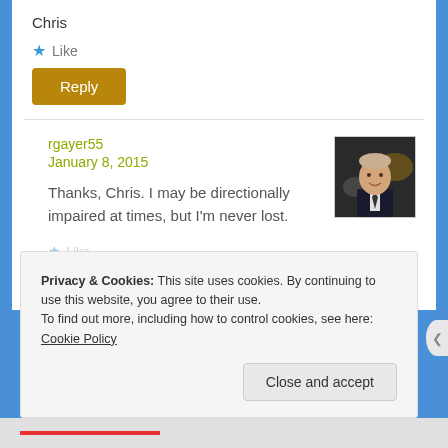Chris
★ Like
Reply
rgayer55
January 8, 2015
[Figure (photo): Avatar photo of a man in a suit]
Thanks, Chris. I may be directionally impaired at times, but I'm never lost.
Privacy & Cookies: This site uses cookies. By continuing to use this website, you agree to their use.
To find out more, including how to control cookies, see here: Cookie Policy
Close and accept